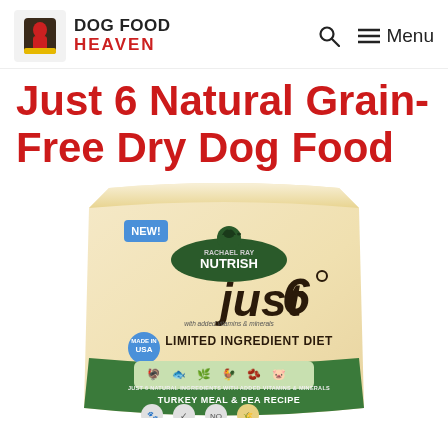DOG FOOD HEAVEN | Search | Menu
Just 6 Natural Grain-Free Dry Dog Food
[Figure (photo): Product photo of Rachael Ray Nutrish Just 6 Natural Grain-Free Dry Dog Food bag — Limited Ingredient Diet, Turkey Meal & Pea Recipe, with NEW! badge, made in USA seal, and icons at the bottom.]